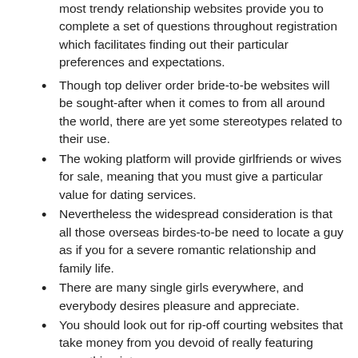most trendy relationship websites provide you to complete a set of questions throughout registration which facilitates finding out their particular preferences and expectations.
Though top deliver order bride-to-be websites will be sought-after when it comes to from all around the world, there are yet some stereotypes related to their use.
The woking platform will provide girlfriends or wives for sale, meaning that you must give a particular value for dating services.
Nevertheless the widespread consideration is that all those overseas birdes-to-be need to locate a guy as if you for a severe romantic relationship and family life.
There are many single girls everywhere, and everybody desires pleasure and appreciate.
You should look out for rip-off courting websites that take money from you devoid of really featuring something inturn.
The selection of women who are looking for males on the web is significant, subsequently, working with a wide option will assist you to to search out the best bride-to-be. Since hard-working individuals have less time to socialize, a going